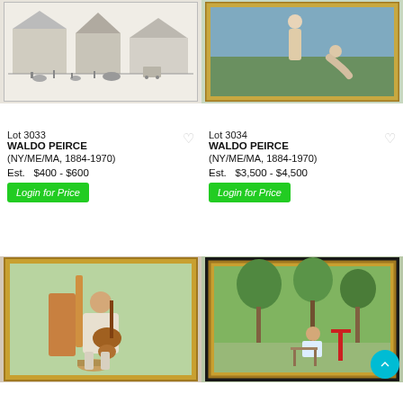[Figure (photo): Framed black and white print of a circus scene with tents, animals, and figures]
[Figure (photo): Framed painting of two nude figures in a landscape with blue and green tones]
Lot 3033
WALDO PEIRCE
(NY/ME/MA, 1884-1970)

Est.   $400 - $600
Login for Price
Lot 3034
WALDO PEIRCE
(NY/ME/MA, 1884-1970)

Est.   $3,500 - $4,500
Login for Price
[Figure (photo): Framed colorful painting of a person playing guitar, seated, with impressionistic style]
[Figure (photo): Framed impressionistic painting of a figure seated outdoors in a lush green garden setting]